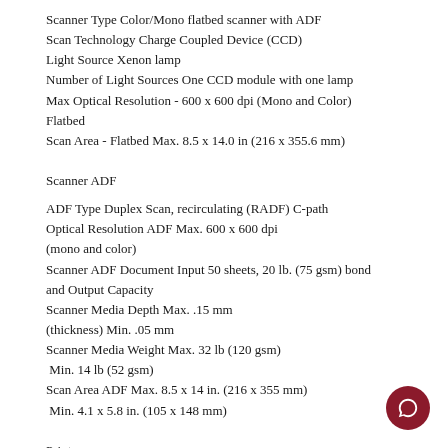Scanner Type Color/Mono flatbed scanner with ADF
Scan Technology Charge Coupled Device (CCD)
Light Source Xenon lamp
Number of Light Sources One CCD module with one lamp
Max Optical Resolution - 600 x 600 dpi (Mono and Color) Flatbed
Scan Area - Flatbed Max. 8.5 x 14.0 in (216 x 355.6 mm)
Scanner ADF
ADF Type Duplex Scan, recirculating (RADF) C-path
Optical Resolution ADF Max. 600 x 600 dpi (mono and color)
Scanner ADF Document Input 50 sheets, 20 lb. (75 gsm) bond and Output Capacity
Scanner Media Depth Max. .15 mm (thickness) Min. .05 mm
Scanner Media Weight Max. 32 lb (120 gsm)  Min. 14 lb (52 gsm)
Scan Area ADF Max. 8.5 x 14 in. (216 x 355 mm)  Min. 4.1 x 5.8 in. (105 x 148 mm)
Printer
Print Technology Belt fuser
Paper Feed Orientation Short edge feed
Fax